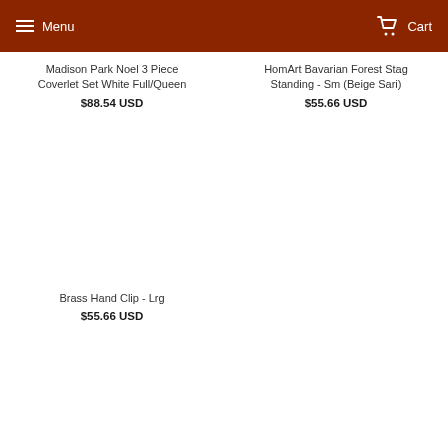Menu  Cart
Madison Park Noel 3 Piece Coverlet Set White Full/Queen
$88.54 USD
HomArt Bavarian Forest Stag Standing - Sm (Beige Sari)
$55.66 USD
Brass Hand Clip - Lrg
$55.66 USD